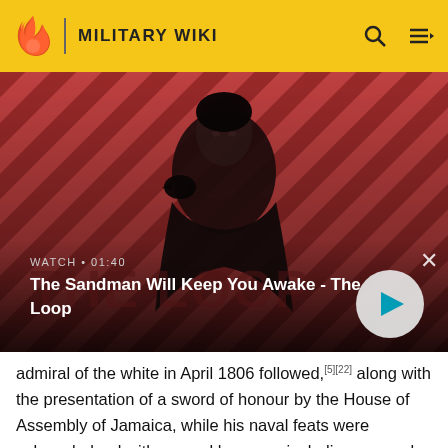MILITARY WIKI
[Figure (screenshot): Video thumbnail for 'The Sandman Will Keep You Awake - The Loop' showing a dark-cloaked figure with a raven on shoulder against a red and black diagonal striped background. Shows WATCH · 01:40 label and a play button.]
admiral of the white in April 1806 followed,[5][22] along with the presentation of a sword of honour by the House of Assembly of Jamaica, while his naval feats were acknowledged with several honours, including a sword of honour by the corporation of the City of London.[12][d] A great dinner was also held in his honour on the Mansion